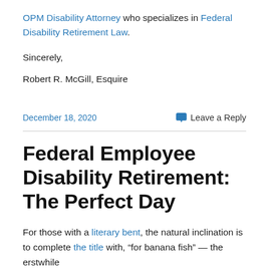OPM Disability Attorney who specializes in Federal Disability Retirement Law.
Sincerely,
Robert R. McGill, Esquire
December 18, 2020    Leave a Reply
Federal Employee Disability Retirement: The Perfect Day
For those with a literary bent, the natural inclination is to complete the title with, “for banana fish” — the erstwhile